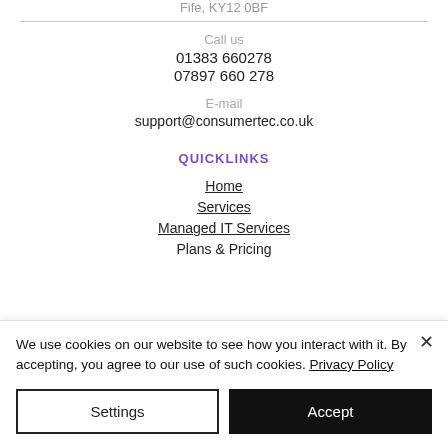Fife, KY12 0BF
Call us
01383 660278
07897 660 278
E-mail
support@consumertec.co.uk
QUICKLINKS
Home
Services
Managed IT Services
Plans & Pricing
We use cookies on our website to see how you interact with it. By accepting, you agree to our use of such cookies. Privacy Policy
Settings
Accept